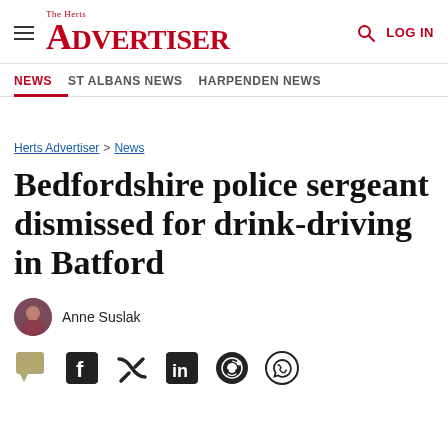The Herts Advertiser — Navigation: NEWS | ST ALBANS NEWS | HARPENDEN NEWS
Herts Advertiser > News
Bedfordshire police sergeant dismissed for drink-driving in Batford
Anne Suslak